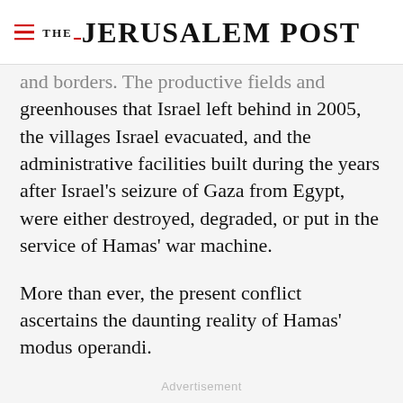THE JERUSALEM POST
and borders. The productive fields and greenhouses that Israel left behind in 2005, the villages Israel evacuated, and the administrative facilities built during the years after Israel’s seizure of Gaza from Egypt, were either destroyed, degraded, or put in the service of Hamas’ war machine.
More than ever, the present conflict ascertains the daunting reality of Hamas’ modus operandi.
Advertisement